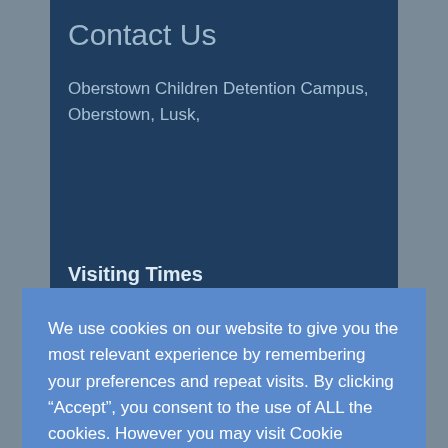Contact Us
Oberstown Children Detention Campus,
Oberstown, Lusk,
We use cookies on our website to give you the most relevant experience by remembering your preferences and repeat visits. By clicking “Accept”, you consent to the use of ALL the cookies. However you may visit Cookie Settings to provide a controlled consent.
Cookie settings
ACCEPT
Visiting Times
Monday to Friday
9am - 5pm
Saturday and Sunday